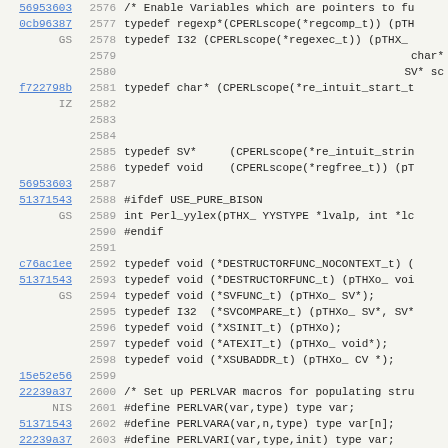[Figure (screenshot): Source code diff/annotation view showing C/Perl typedefs and macro definitions, lines 2576-2608, with commit hashes in the left column, line numbers in the middle column, and code in the right column.]